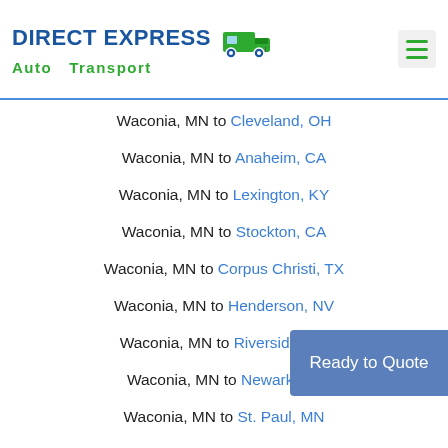DIRECT EXPRESS Auto Transport
Waconia, MN to Cleveland, OH
Waconia, MN to Anaheim, CA
Waconia, MN to Lexington, KY
Waconia, MN to Stockton, CA
Waconia, MN to Corpus Christi, TX
Waconia, MN to Henderson, NV
Waconia, MN to Riverside, CA
Waconia, MN to Newark, NJ
Waconia, MN to St. Paul, MN
Ready to Quote